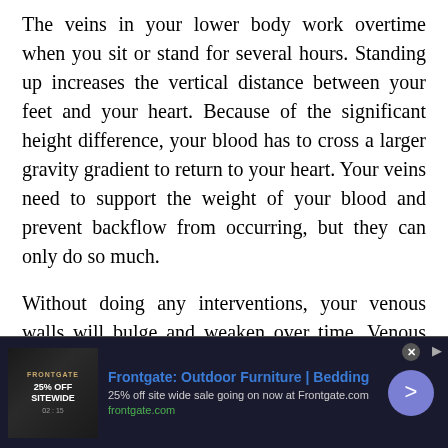The veins in your lower body work overtime when you sit or stand for several hours. Standing up increases the vertical distance between your feet and your heart. Because of the significant height difference, your blood has to cross a larger gravity gradient to return to your heart. Your veins need to support the weight of your blood and prevent backflow from occurring, but they can only do so much.
Without doing any interventions, your venous walls will bulge and weaken over time. Venous insufficiency causes poor blood circulation to your limbs, leading to pain and swelling. Varicose veins may worsen, which is another sign of venous
[Figure (other): Advertisement banner for Frontgate: Outdoor Furniture and Bedding. Shows 25% off sitewide sale going on now at Frontgate.com. frontgate.com link shown. Dark background with product image on left, text in middle, blue circle arrow button on right.]